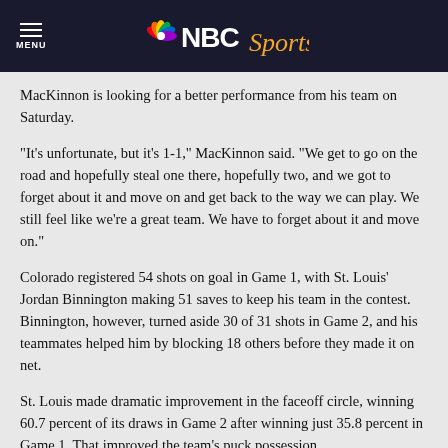MENU | NBC Sports
MacKinnon is looking for a better performance from his team on Saturday.
"It's unfortunate, but it's 1-1," MacKinnon said. "We get to go on the road and hopefully steal one there, hopefully two, and we got to forget about it and move on and get back to the way we can play. We still feel like we're a great team. We have to forget about it and move on."
Colorado registered 54 shots on goal in Game 1, with St. Louis' Jordan Binnington making 51 saves to keep his team in the contest. Binnington, however, turned aside 30 of 31 shots in Game 2, and his teammates helped him by blocking 18 others before they made it on net.
St. Louis made dramatic improvement in the faceoff circle, winning 60.7 percent of its draws in Game 2 after winning just 35.8 percent in Game 1. That improved the team's puck possession.
"Well, I've seen it all year," Blues coach Craig Berube said. "We're a good team. We played good hockey all year. It's a good group of guys that want to win.